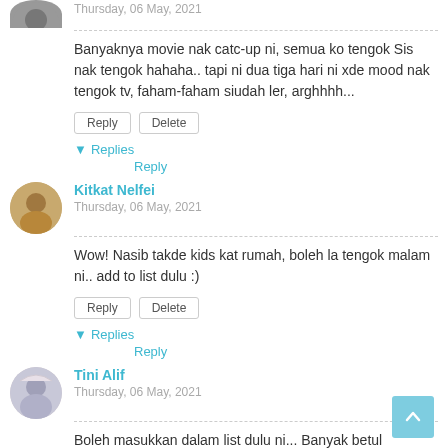[Figure (photo): Partially visible user avatar at top of page (cropped circle)]
Thursday, 06 May, 2021
Banyaknya movie nak catc-up ni, semua ko tengok Sis nak tengok hahaha.. tapi ni dua tiga hari ni xde mood nak tengok tv, faham-faham siudah ler, arghhhh...
Reply
Delete
▾ Replies
Reply
[Figure (photo): User avatar for Kitkat Nelfei]
Kitkat Nelfei
Thursday, 06 May, 2021
Wow! Nasib takde kids kat rumah, boleh la tengok malam ni.. add to list dulu :)
Reply
Delete
▾ Replies
Reply
[Figure (photo): User avatar for Tini Alif]
Tini Alif
Thursday, 06 May, 2021
Boleh masukkan dalam list dulu ni... Banyak betul